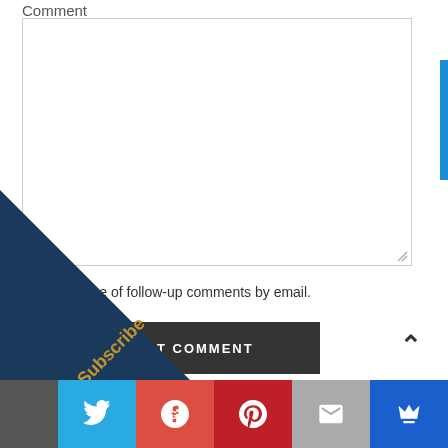Comment
[Figure (screenshot): Empty comment textarea input box with resize handle in bottom-right corner]
Notify me of follow-up comments by email.
ST COMMENT (Post Comment button)
[Figure (infographic): Subscribe diagonal banner overlay in dark navy blue with gold Subscribe text rotated diagonally]
[Figure (infographic): Social sharing bar with Twitter, Google+, Pinterest, Email, and Crown icons]